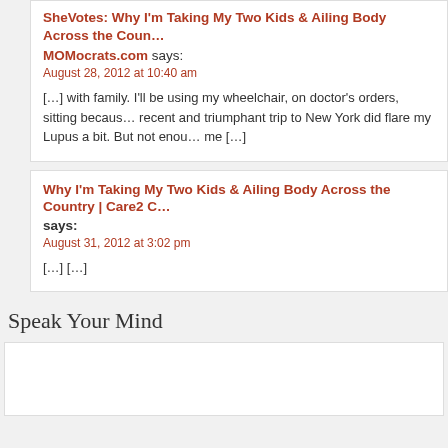SheVotes: Why I'm Taking My Two Kids & Ailing Body Across the Country
MOMocrats.com says:
August 28, 2012 at 10:40 am
[…] with family. I'll be using my wheelchair, on doctor's orders, sitting because my recent and triumphant trip to New York did flare my Lupus a bit. But not enough to stop me […]
Why I'm Taking My Two Kids & Ailing Body Across the Country | Care2 C
says:
August 31, 2012 at 3:02 pm
[…] […]
Speak Your Mind